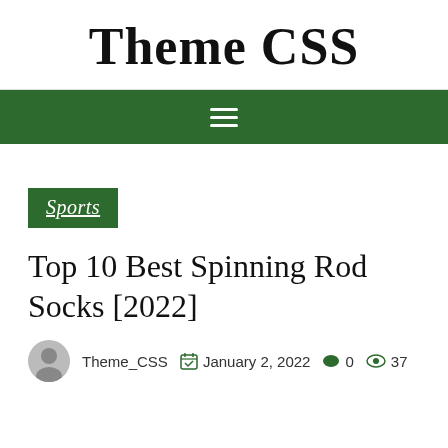Theme CSS
[Figure (other): Green navigation bar with hamburger menu icon (three horizontal white lines)]
Sports
Top 10 Best Spinning Rod Socks [2022]
Theme_CSS   January 2, 2022   0   37